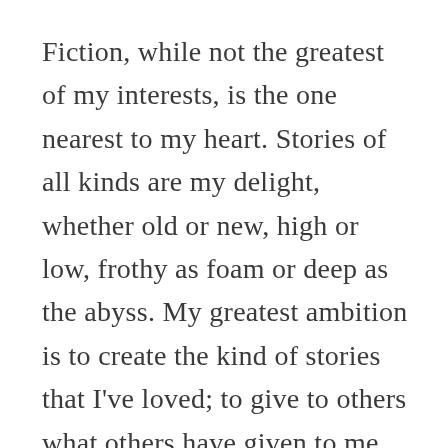Fiction, while not the greatest of my interests, is the one nearest to my heart. Stories of all kinds are my delight, whether old or new, high or low, frothy as foam or deep as the abyss. My greatest ambition is to create the kind of stories that I've loved; to give to others what others have given to me, and to show beauty, nobility, and truth to those who yearn for them.